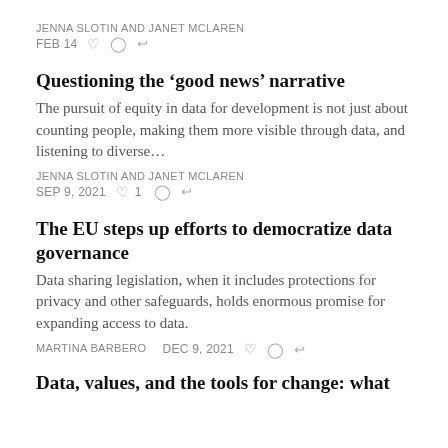JENNA SLOTIN AND JANET MCLAREN
FEB 14 ♡ ○ ↪
Questioning the 'good news' narrative
The pursuit of equity in data for development is not just about counting people, making them more visible through data, and listening to diverse…
JENNA SLOTIN AND JANET MCLAREN
SEP 9, 2021 ♡ 1 ○ ↪
The EU steps up efforts to democratize data governance
Data sharing legislation, when it includes protections for privacy and other safeguards, holds enormous promise for expanding access to data.
MARTINA BARBERO   DEC 9, 2021 ♡ ○ ↪
Data, values, and the tools for change: what